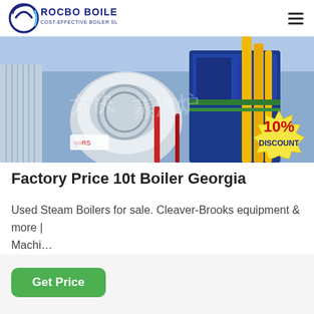ROCBO BOILER — COST-EFFECTIVE BOILER SUPPLIER
[Figure (photo): Industrial boiler equipment photograph showing blue and yellow machinery with pipes and fittings, with Chinese watermark text and a 10% DISCOUNT badge overlay]
Factory Price 10t Boiler Georgia
Used Steam Boilers for sale. Cleaver-Brooks equipment & more | Machi…
Get Price